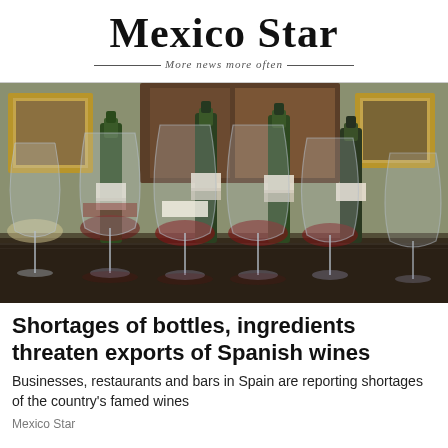Mexico Star — More news more often
[Figure (photo): Multiple wine glasses and bottles of Spanish wine arranged on a dark surface in an elegant room with artwork on walls]
Shortages of bottles, ingredients threaten exports of Spanish wines
Businesses, restaurants and bars in Spain are reporting shortages of the country's famed wines
Mexico Star